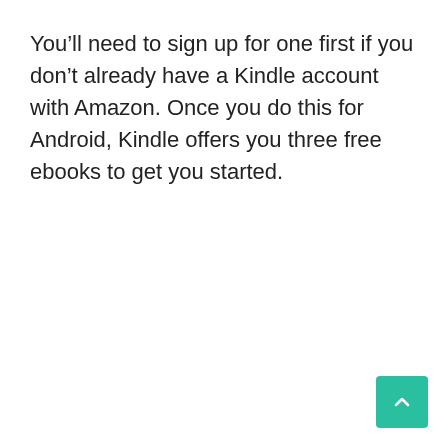You'll need to sign up for one first if you don't already have a Kindle account with Amazon. Once you do this for Android, Kindle offers you three free ebooks to get you started.